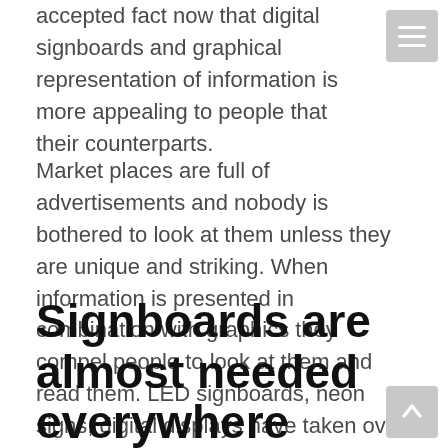accepted fact now that digital signboards and graphical representation of information is more appealing to people that their counterparts.
Market places are full of advertisements and nobody is bothered to look at them unless they are unique and striking. When information is presented in combination with graphics they compel people to look at them and read them. LED signboards, neon signs, digital displays have taken over the conventional ways of marketing. They are more effective and rewarding too.
Signboards are almost needed everywhere